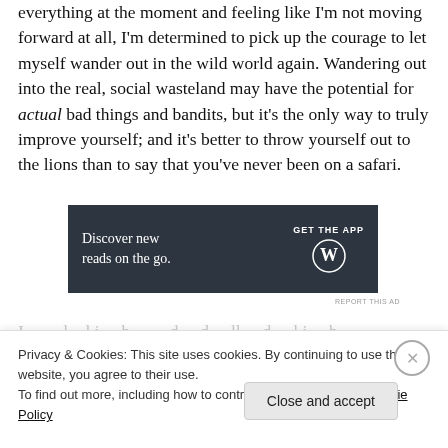everything at the moment and feeling like I'm not moving forward at all, I'm determined to pick up the courage to let myself wander out in the wild world again. Wandering out into the real, social wasteland may have the potential for actual bad things and bandits, but it's the only way to truly improve yourself; and it's better to throw yourself out to the lions than to say that you've never been on a safari.
[Figure (other): Advertisement banner: dark navy background with text 'Discover new reads on the go.' on left and 'GET THE APP' with WordPress logo on right.]
Privacy & Cookies: This site uses cookies. By continuing to use this website, you agree to their use. To find out more, including how to control cookies, see here: Cookie Policy